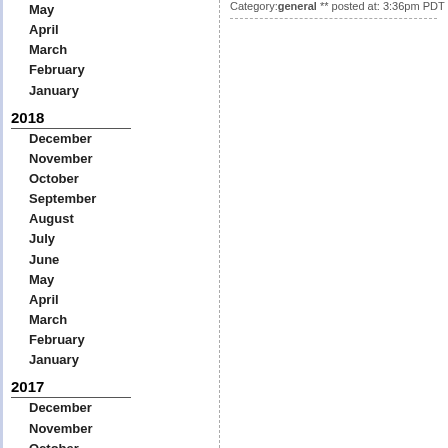May
April
March
February
January
2018
December
November
October
September
August
July
June
May
April
March
February
January
2017
December
November
October
September
August
July
June
May
April
February
January
Category: general ** posted at: 3:36pm PDT